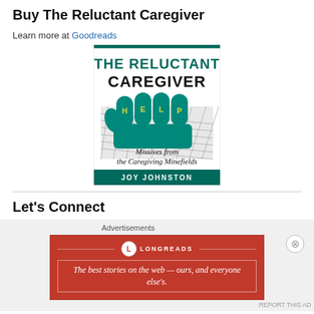Buy The Reluctant Caregiver
Learn more at Goodreads
[Figure (illustration): Book cover of 'The Reluctant Caregiver: Missives from the Caregiving Minefields' by Joy Johnston. Features a teal/green fist with 'HELP' written on the knuckles gripping a chain-link fence.]
Let's Connect
Advertisements
[Figure (logo): Longreads advertisement banner: red background with Longreads logo and text 'The best stories on the web — ours, and everyone else's.']